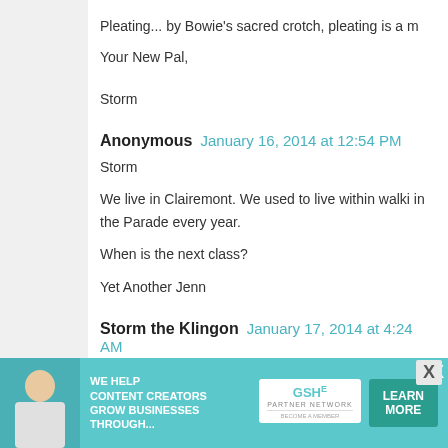Pleating... by Bowie's sacred crotch, pleating is a m
Your New Pal,

Storm
Anonymous  January 16, 2014 at 12:54 PM
Storm

We live in Clairemont. We used to live within walki in the Parade every year.

When is the next class?

Yet Another Jenn
Storm the Klingon  January 17, 2014 at 4:24 AM
NO WAY CUT IT OUT! This is CRAZY, I bet I either

Our next class is on the 25th, but it's already prot into eye make-up, and an actual pro is comir k what faux queen/drag mother couldn't use
[Figure (infographic): Advertisement banner: SHE Partner Network - We Help Content Creators Grow Businesses Through... Learn More button]